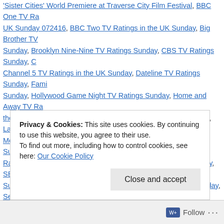'Sister Cities' World Premiere at Traverse City Film Festival, BBC One TV Ratings in the UK Sunday 072416, BBC Two TV Ratings in the UK Sunday, Big Brother TV Ratings Sunday, Brooklyn Nine-Nine TV Ratings Sunday, CBS TV Ratings Sunday, Channel 5 TV Ratings in the UK Sunday, Dateline TV Ratings Sunday, Family Sunday, Hollywood Game Night TV Ratings Sunday, Home and Away TV Ratings the UK Sunday, John Oliver, John Oliver 'Stop Using Our Songs', Lance Han Media Watch TV Ratings in Australia Monday, NBC TV Ratings Sunday, Nine Ratings in Australia Sunday, SBS TV Ratings in Australia Monday, SBS TV R Sunday in Australia 072416, Seven TV Ratings in Australia Monday, Seven T Australia Monday 072516, Ten TV Ratings in Australia Monday, Ten TV Ratin Tv Ratings in Australia Monday, The Simpsons TV Ratings Sunday, UNI #1 S a comment
Privacy & Cookies: This site uses cookies. By continuing to use this website, you agree to their use.
To find out more, including how to control cookies, see here: Our Cookie Policy
Close and accept